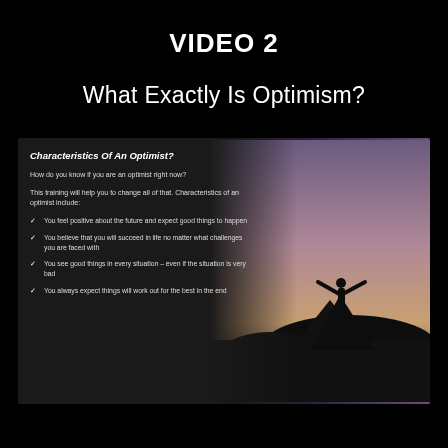VIDEO 2
What Exactly Is Optimism?
[Figure (illustration): Slide with dark gradient background and silhouette of a person on a rock with arms raised against a purple/pink sunset sky]
Characteristics Of An Optimist?
How do you know if you are an optimist right now?
This training will help you to change all of that. Characteristics of an optimist include:
You feel positive about the future and expect good things to happen
You believe that you will succeed in life no matter what challenges you are faced with
You see good things in every situation – even if the situation is very bad
You always expect things will work out for the best in the end